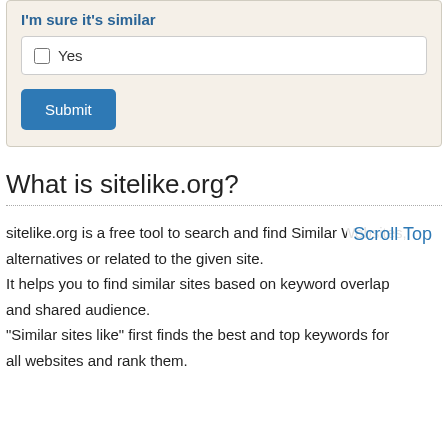I'm sure it's similar
Yes (checkbox)
Submit
What is sitelike.org?
sitelike.org is a free tool to search and find Similar Websites, alternatives or related to the given site.
It helps you to find similar sites based on keyword overlap and shared audience.
"Similar sites like" first finds the best and top keywords for all websites and rank them.
Scroll Top